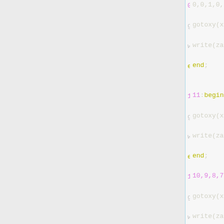Code snippet in Pascal-like language showing case/begin/end blocks with gotoxy, textbackground, write statements